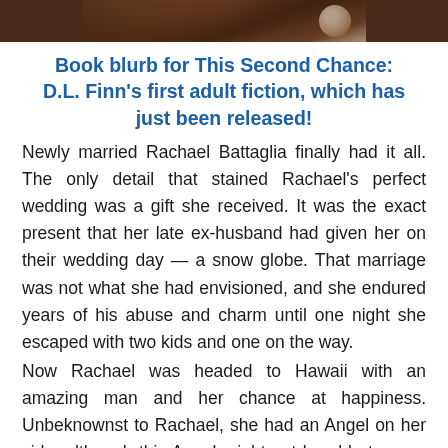[Figure (photo): Partial photo of a wedding scene, cropped at top showing dark reddish-brown tones with what appears to be a white element at the right.]
Book blurb for This Second Chance: D.L. Finn's first adult fiction, which has just been released!
Newly married Rachael Battaglia finally had it all. The only detail that stained Rachael's perfect wedding was a gift she received. It was the exact present that her late ex-husband had given her on their wedding day — a snow globe. That marriage was not what she had envisioned, and she endured years of his abuse and charm until one night she escaped with two kids and one on the way.
Now Rachael was headed to Hawaii with an amazing man and her chance at happiness. Unbeknownst to Rachael, she had an Angel on her side, although this Angel might not be able to save Rachael and her family from the evil that surrounded them. This is a tale of love,